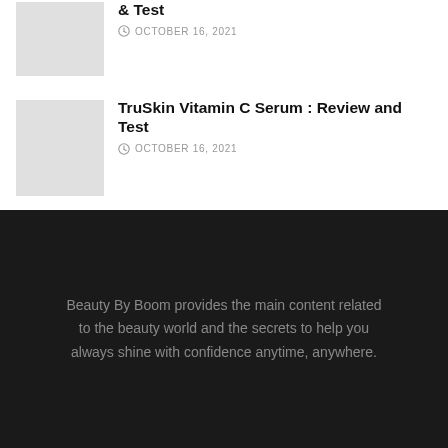[Figure (photo): Thumbnail image placeholder (light gray rectangle) for first article]
& Test
OCTOBER 16, 2021
[Figure (photo): Thumbnail image placeholder (light gray rectangle) for second article]
TruSkin Vitamin C Serum : Review and Test
OCTOBER 16, 2021
Beauty By Boom provides the main content related to the beauty world and the secrets to help you always shine with confidence anytime, anywhere.